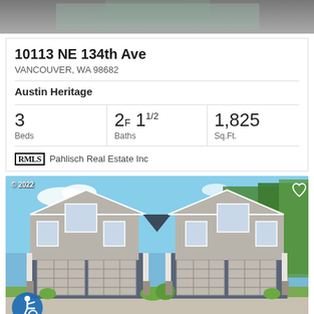[Figure (photo): Top partial photo of a property listing]
10113 NE 134th Ave
VANCOUVER, WA 98682
Austin Heritage
| Beds | Baths | Sq.Ft. |
| --- | --- | --- |
| 3 | 2F 11/2 | 1,825 |
RMLS Pahlisch Real Estate Inc
[Figure (photo): Exterior photo of a modern duplex home with gray siding, large garage doors, and landscaping. Copyright 2022. Accessibility icon bottom left, heart icon top right.]